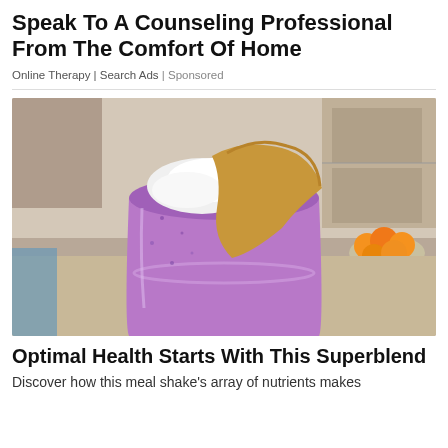Speak To A Counseling Professional From The Comfort Of Home
Online Therapy | Search Ads | Sponsored
[Figure (photo): Close-up photo of a purple smoothie in a glass mason jar, topped with white cream and a drizzle of brown peanut butter or nut butter, with a kitchen background showing oranges and modern cabinetry.]
Optimal Health Starts With This Superblend
Discover how this meal shake's array of nutrients makes